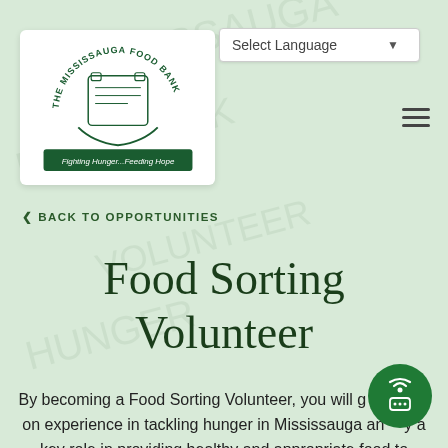[Figure (logo): The Mississauga Food Bank logo with text 'Fighting Hunger...Feeding Hope']
Select Language
< BACK TO OPPORTUNITIES
Food Sorting Volunteer
By becoming a Food Sorting Volunteer, you will g- on experience in tackling hunger in Mississauga and y a key role in providing healthy and appropriate food to